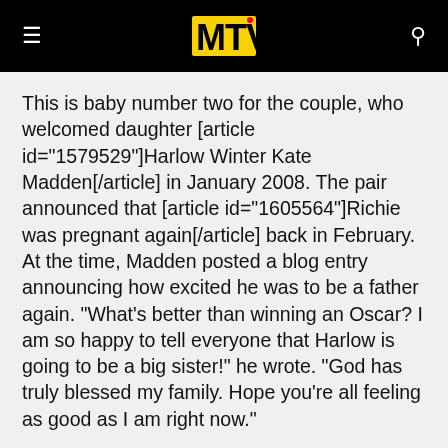MTV logo header with menu and search icons
This is baby number two for the couple, who welcomed daughter [article id="1579529"]Harlow Winter Kate Madden[/article] in January 2008. The pair announced that [article id="1605564"]Richie was pregnant again[/article] back in February. At the time, Madden posted a blog entry announcing how excited he was to be a father again. "What's better than winning an Oscar? I am so happy to tell everyone that Harlow is going to be a big sister!" he wrote. "God has truly blessed my family. Hope you're all feeling as good as I am right now."
In a 2008 interview with MTV News, [article id="1582649"]Madden spoke candidly[/article] about how being a parent has helped calm both his and Richie's once wild ways. "Being a father is nothing you